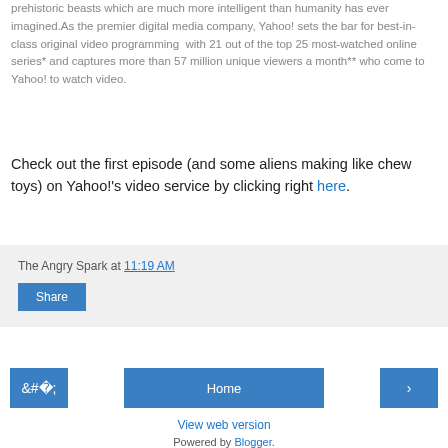prehistoric beasts which are much more intelligent than humanity has ever imagined.As the premier digital media company, Yahoo! sets the bar for best-in-class original video programming  with 21 out of the top 25 most-watched online series* and captures more than 57 million unique viewers a month** who come to Yahoo! to watch video.
Check out the first episode (and some aliens making like chew toys) on Yahoo!'s video service by clicking right here.
The Angry Spark at 11:19 AM
Share
‹
Home
›
View web version
Powered by Blogger.